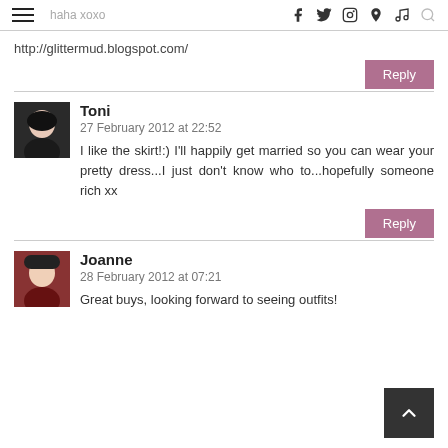haha xoxo
http://glittermud.blogspot.com/
Reply
Toni
27 February 2012 at 22:52
I like the skirt!:) I'll happily get married so you can wear your pretty dress...I just don't know who to...hopefully someone rich xx
Reply
Joanne
28 February 2012 at 07:21
Great buys, looking forward to seeing outfits!